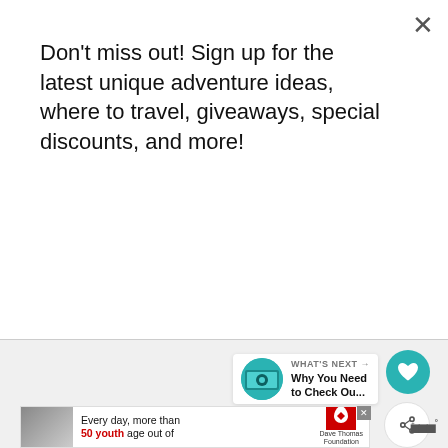Don't miss out! Sign up for the latest unique adventure ideas, where to travel, giveaways, special discounts, and more!
Subscribe
[Figure (screenshot): Teal circular heart/like button icon]
[Figure (screenshot): White circular share button icon with plus sign]
WHAT'S NEXT → Why You Need to Check Ou...
[Figure (screenshot): Advertisement banner: photo of woman, text 'Every day, more than 50 youth age out of', Dave Thomas Foundation for Adoption logo]
[Figure (logo): Tripwire logo at bottom right]